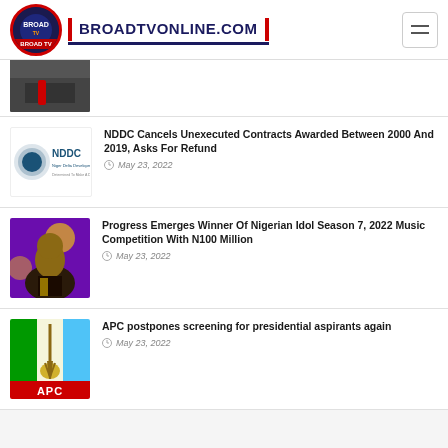BROADTVONLINE.COM
[Figure (photo): Partial view of a person in a suit with red tie, cropped thumbnail]
NDDC Cancels Unexecuted Contracts Awarded Between 2000 And 2019, Asks For Refund
May 23, 2022
[Figure (photo): Nigerian Idol Season 7 winner Progress, photo against purple background]
Progress Emerges Winner Of Nigerian Idol Season 7, 2022 Music Competition With N100 Million
May 23, 2022
[Figure (logo): APC logo with green, broom, blue sections and red APC label at bottom]
APC postpones screening for presidential aspirants again
May 23, 2022